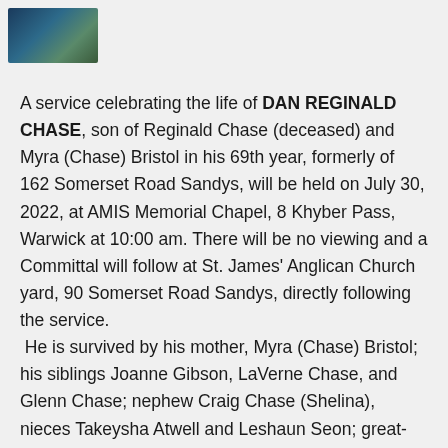[Figure (photo): Small portrait photo, dark tones with blue and green hues]
A service celebrating the life of DAN REGINALD CHASE, son of Reginald Chase (deceased) and Myra (Chase) Bristol in his 69th year, formerly of 162 Somerset Road Sandys, will be held on July 30, 2022, at AMIS Memorial Chapel, 8 Khyber Pass, Warwick at 10:00 am. There will be no viewing and a Committal will follow at St. James' Anglican Church yard, 90 Somerset Road Sandys, directly following the service.
 He is survived by his mother, Myra (Chase) Bristol; his siblings Joanne Gibson, LaVerne Chase, and Glenn Chase; nephew Craig Chase (Shelina), nieces Takeysha Atwell and Leshaun Seon; great-nieces, Samai, Kiarah, Anisa, and Eliyah Seon and Azaria Atwell; great-nephews Mahlon Seon and Izaiah Atwell; great-great-nephew Sage Seon... and great-great-nieces Zamaria Seon...